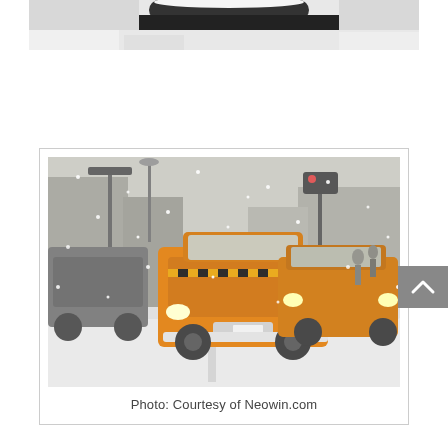[Figure (photo): Partial top view of a snowy scene with car top visible against white snow background — cropped photo at top of page]
[Figure (photo): New York City yellow taxis driving through a heavy snowstorm on a city street, with traffic lights and buildings visible in the background. Snow covers the ground and is falling heavily.]
Photo: Courtesy of Neowin.com